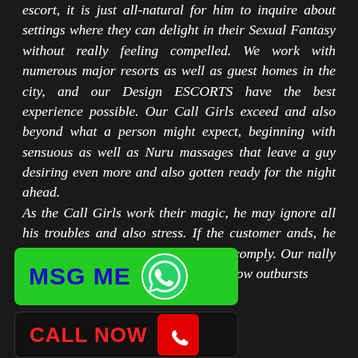escort, it is just all-natural for him to inquire about settings where they can delight in their Sexual Fantasy without really feeling compelled. We work with numerous major resorts as well as guest homes in the city, and our Design ESCORTS have the best experience possible. Our Call Girls exceed and also beyond what a person might expect, beginning with sensuous as well as Nuru massages that leave a guy desiring even more and also gotten ready for the night ahead.
As the Call Girls work their magic, he may ignore all his troubles and also stress. If the customer ands, he only needs to state adies will swiftly comply. Our nally quite polite, and unlike they do not throw outbursts
[Figure (infographic): Green MSG ME button with WhatsApp icon]
[Figure (infographic): Black CALL NOW button with red phone icon]